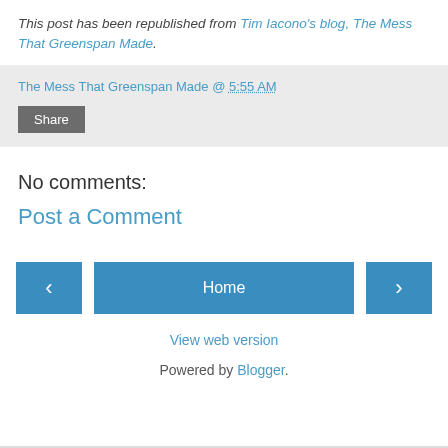This post has been republished from Tim Iacono's blog, The Mess That Greenspan Made.
The Mess That Greenspan Made @ 5:55 AM
Share
No comments:
Post a Comment
‹
Home
›
View web version
Powered by Blogger.